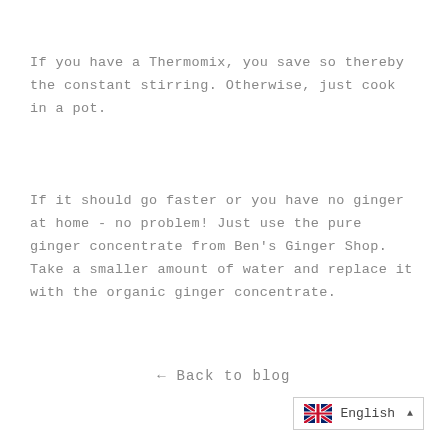If you have a Thermomix, you save so thereby the constant stirring. Otherwise, just cook in a pot.
If it should go faster or you have no ginger at home - no problem! Just use the pure ginger concentrate from Ben's Ginger Shop. Take a smaller amount of water and replace it with the organic ginger concentrate.
← Back to blog
English